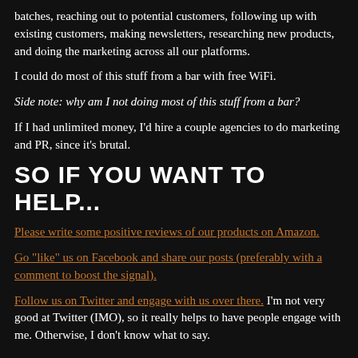batches, reaching out to potential customers, following up with existing customers, making newsletters, researching new products, and doing the marketing across all our platforms.
I could do most of this stuff from a bar with free WiFi.
Side note: why am I not doing most of this stuff from a bar?
If I had unlimited money, I'd hire a couple agencies to do marketing and PR, since it's brutal.
SO IF YOU WANT TO HELP...
Please write some positive reviews of our products on Amazon.
Go "like" us on Facebook and share our posts (preferably with a comment to boost the signal).
Follow us on Twitter and engage with us over there. I'm not very good at Twitter (IMO), so it really helps to have people engage with me. Otherwise, I don't know what to say.